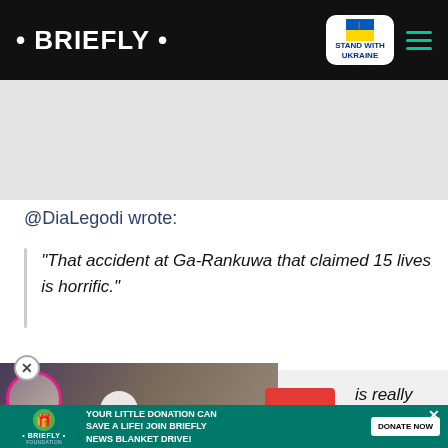• BRIEFLY •
@DiaLegodi wrote:
“That accident at Ga-Rankuwa that claimed 15 lives is horrific.”
is really horrific.”
[Figure (screenshot): Video card overlay: A PSYCHIC PREDICTION OF TRUE LOVE, with person photo and play button]
[Figure (infographic): Bottom donation ad: YOUR LITTLE DONATION CAN SAVE A LIFE! JOIN BRIEFLY NEWS BLANKET DRIVE! DONATE NOW]